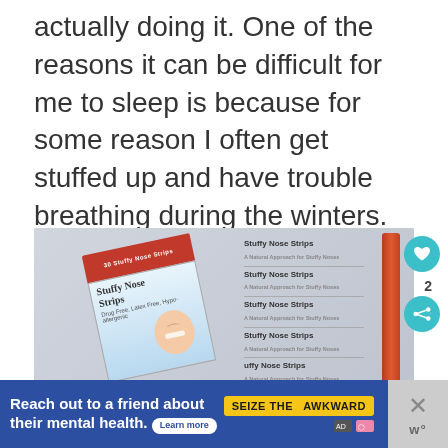actually doing it. One of the reasons it can be difficult for me to sleep is because for some reason I often get stuffed up and have trouble breathing during the winters.
[Figure (photo): A box of Stuffy Nose Strips product with red top panel, alongside an individual strip dispenser tube in orange/red, and a stacked list of 'Stuffy Nose Strips' labels, on a gray-blue gradient background.]
Reach out to a friend about their mental health. Learn more  SEIZE THE AWKWARD